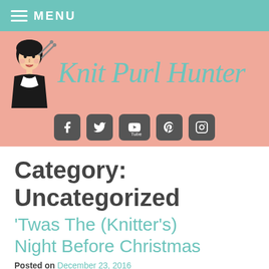MENU
[Figure (logo): Knit Purl Hunter blog header with vintage lady illustration and site title in teal cursive, with social media icons (Facebook, Twitter, YouTube, Pinterest, Instagram) below]
Category: Uncategorized
'Twas The (Knitter's) Night Before Christmas
Posted on December 23, 2016